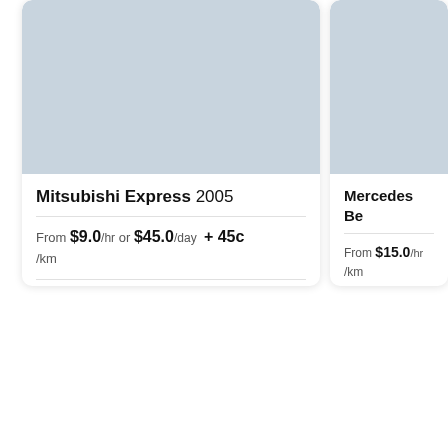[Figure (logo): Car Next Door logo — circular teal badge with white text reading CAR NEXT DOOR]
Moving van hire
[Figure (photo): Placeholder image for Mitsubishi Express 2005 — light blue-grey rectangle]
Mitsubishi Express 2005
From $9.0 /hr or $45.0 /day + 45c /km
[Figure (photo): Placeholder image for Mercedes Benz van — light blue-grey rectangle (partially visible)]
Mercedes Be...
From $15.0 /hr ... /km